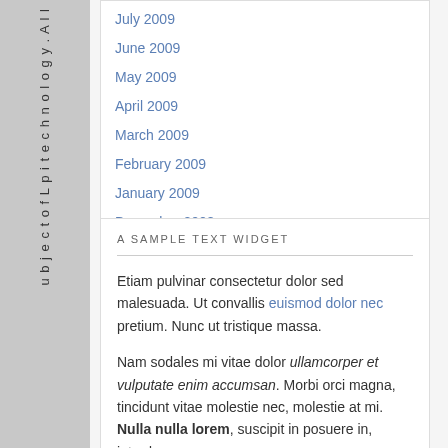u b j e c t o f L p i t e c h n o l o g y . A l l
July 2009
June 2009
May 2009
April 2009
March 2009
February 2009
January 2009
December 2008
A SAMPLE TEXT WIDGET
Etiam pulvinar consectetur dolor sed malesuada. Ut convallis euismod dolor nec pretium. Nunc ut tristique massa.
Nam sodales mi vitae dolor ullamcorper et vulputate enim accumsan. Morbi orci magna, tincidunt vitae molestie nec, molestie at mi. Nulla nulla lorem, suscipit in posuere in, interdum non magna.